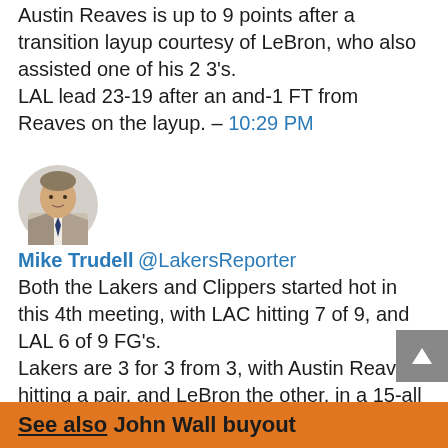Austin Reaves is up to 9 points after a transition layup courtesy of LeBron, who also assisted one of his 2 3's.
LAL lead 23-19 after an and-1 FT from Reaves on the layup. – 10:29 PM
[Figure (photo): Profile photo of Mike Trudell, a man in a suit and tie]
Mike Trudell @LakersReporter
Both the Lakers and Clippers started hot in this 4th meeting, with LAC hitting 7 of 9, and LAL 6 of 9 FG's.
Lakers are 3 for 3 from 3, with Austin Reaves hitting a pair, and LeBron the other, in a 15-all tie at the 7:43 mark. – 10:23 PM
See also  John Wall buyout